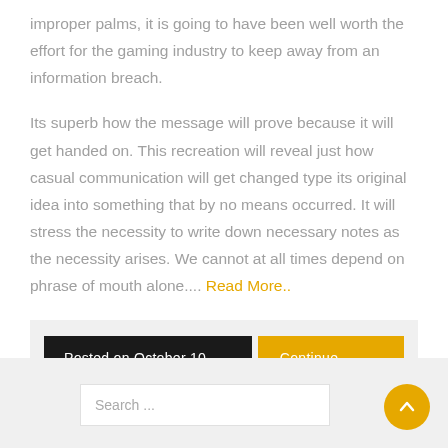improper palms, it is going to have been well worth the effort for the gaming industry to keep away from an information breach.
Its superb how the message will prove because it will get handed on. This recreation will reveal just how casual communication will get changed type its original idea into something that by no means occurred. It will stress the necessity to write down necessary notes as the necessity arises. We cannot at all times depend on phrase of mouth alone.... Read More..
Posted on October 10, 2018  Continue reading
Search ...